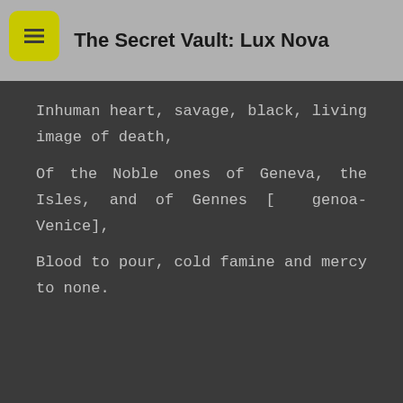The Secret Vault: Lux Nova
Inhuman heart, savage, black, living image of death,
Of the Noble ones of Geneva, the Isles, and of Gennes [ genoa-Venice],
Blood to pour, cold famine and mercy to none.